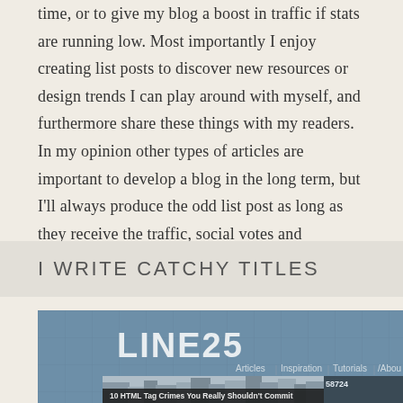time, or to give my blog a boost in traffic if stats are running low. Most importantly I enjoy creating list posts to discover new resources or design trends I can play around with myself, and furthermore share these things with my readers. In my opinion other types of articles are important to develop a blog in the long term, but I'll always produce the odd list post as long as they receive the traffic, social votes and exposure they do today.
I WRITE CATCHY TITLES
[Figure (screenshot): Screenshot of the LINE25 website showing the header with navigation links (Articles, Inspiration, Tutorials, About) and a blog post thumbnail titled '10 HTML Tag Crimes You Really Shouldn't Commit' with a number 58724 visible.]